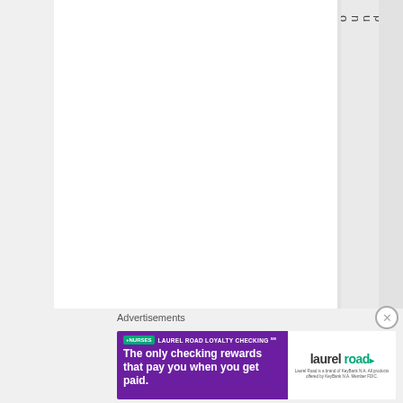[Figure (other): Web page layout with vertical column strips in gray and white. A gray column on the right side contains vertical text reading 'i n k y o u s o u n d s e l f p i t' (partial word 'inkyourselfit' or similar rotated text). The layout appears to be a multi-column website or document interface.]
Advertisements
[Figure (other): Advertisement banner for Laurel Road Loyalty Checking. Purple background with white text: '+NURSES LAUREL ROAD LOYALTY CHECKING SM - The only checking rewards that pay you when you get paid.' Right side has white panel with Laurel Road logo.]